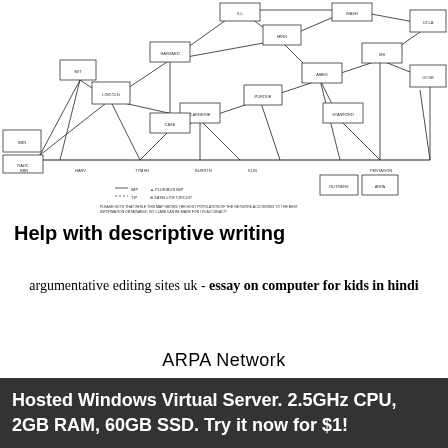[Figure (network-graph): ARPA network topology diagram showing nodes connected by lines representing network links, with node labels for various institutions and sites. Includes legend for satellite circuit and ARPANET connections. Footnote text reads: PLEASE NOTE THAT WHILE THIS MAP SHOWS THE HOST POPULATION OF THE NETWORK ACCORDING TO THE BEST INFORMATION OBTAINABLE, NO CLAIM CAN BE MADE FOR ITS ACCURACY! and NAMES SHOWN ARE NCP NAMES, NOT NECESSARILY HOST NAMES.]
Help with descriptive writing
argumentative editing sites uk - essay on computer for kids in hindi
ARPA Network
Advanced Research Project Agency (ARPA) was established
Hosted Windows Virtual Server. 2.5GHz CPU, 2GB RAM, 60GB SSD. Try it now for $1!